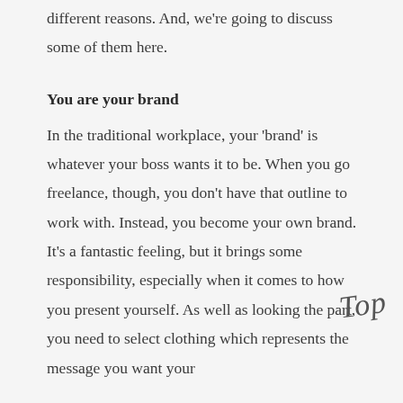different reasons. And, we're going to discuss some of them here.
You are your brand
In the traditional workplace, your 'brand' is whatever your boss wants it to be. When you go freelance, though, you don't have that outline to work with. Instead, you become your own brand. It's a fantastic feeling, but it brings some responsibility, especially when it comes to how you present yourself. As well as looking the part, you need to select clothing which represents the message you want your